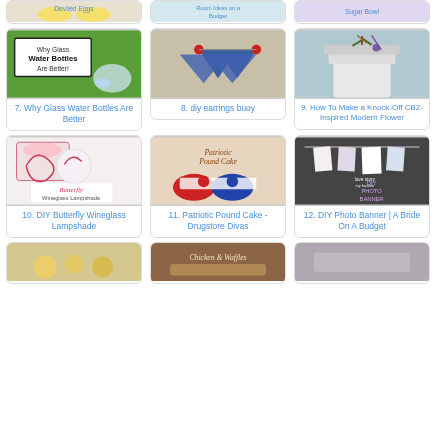[Figure (photo): Partial card top row - Deviled Eggs]
[Figure (photo): Partial card top row - Room Ideas on a Budget]
[Figure (photo): Partial card top row - Sugar Bowl]
[Figure (photo): Card 7 - Why Glass Water Bottles Are Better - person drinking from glass bottle]
7. Why Glass Water Bottles Are Better
[Figure (photo): Card 8 - diy earrings buoy - blue bow earrings]
8. diy earrings buoy
[Figure (photo): Card 9 - How To Make a Knock-Off CB2-Inspired Modern Flower - white pot with plant]
9. How To Make a Knock-Off CB2-Inspired Modern Flower
[Figure (photo): Card 10 - DIY Butterfly Wineglass Lampshade]
10. DIY Butterfly Wineglass Lampshade
[Figure (photo): Card 11 - Patriotic Pound Cake - Drugstore Divas]
11. Patriotic Pound Cake - Drugstore Divas
[Figure (photo): Card 12 - DIY Photo Banner | A Bride On A Budget]
12. DIY Photo Banner | A Bride On A Budget
[Figure (photo): Partial bottom card - food]
[Figure (photo): Partial bottom card - Chicken & Waffles]
[Figure (photo): Partial bottom card]